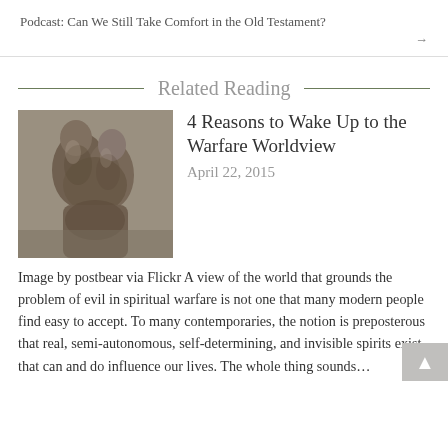Podcast: Can We Still Take Comfort in the Old Testament?
Related Reading
[Figure (photo): A stone sculpture of two wrestling or embracing figures, dark and weathered.]
4 Reasons to Wake Up to the Warfare Worldview
April 22, 2015
Image by postbear via Flickr A view of the world that grounds the problem of evil in spiritual warfare is not one that many modern people find easy to accept. To many contemporaries, the notion is preposterous that real, semi-autonomous, self-determining, and invisible spirits exist that can and do influence our lives. The whole thing sounds…